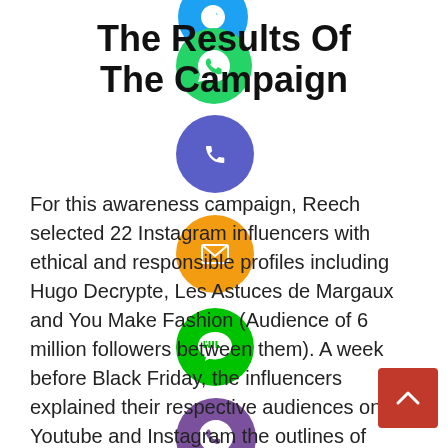The Results Of The Campaign
For this awareness campaign, Reech selected 22 Instagram influencers with ethical and responsible profiles including Hugo Decrypte, Les Astuces de Margaux and You Make Fashion (Audience of 6 million followers between them). A week before Black Friday, the influencers explained to their respective audiences on Youtube and Instagram the outlines of their collaboration with Camif and the reasons for their commitment to his side. On D-Day, in addition to the closure of the site, all the influencers closed their social accounts